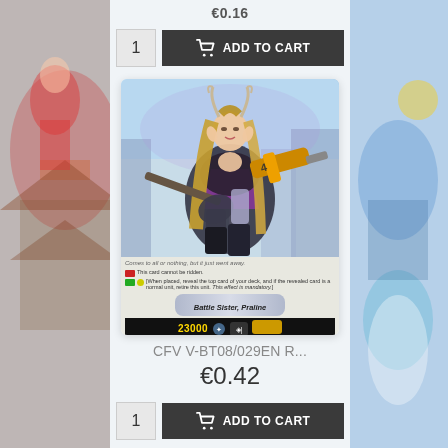€0.16
[Figure (screenshot): E-commerce product page showing a Cardfight Vanguard trading card 'Battle Sister, Praline' CFV V-BT08/029EN R with price €0.42 and add to cart buttons]
CFV V-BT08/029EN R...
€0.42